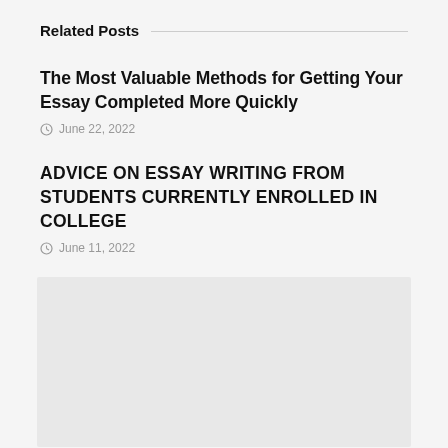Related Posts
The Most Valuable Methods for Getting Your Essay Completed More Quickly
June 22, 2022
ADVICE ON ESSAY WRITING FROM STUDENTS CURRENTLY ENROLLED IN COLLEGE
June 11, 2022
[Figure (other): Gray placeholder image block]